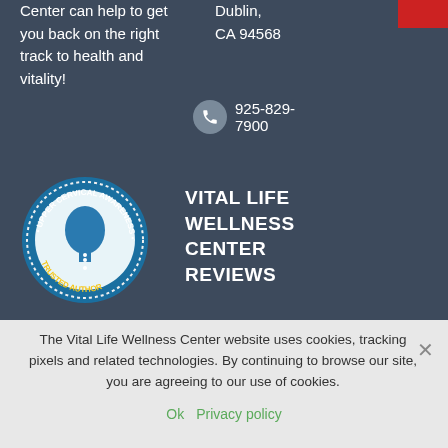Center can help to get you back on the right track to health and vitality!
Dublin, CA 94568
925-829-7900
[Figure (logo): Upper Cervical Awareness Trusted Author circular badge/logo with a head silhouette illustration in the center]
VITAL LIFE WELLNESS CENTER REVIEWS
The Vital Life Wellness Center website uses cookies, tracking pixels and related technologies. By continuing to browse our site, you are agreeing to our use of cookies.
Ok   Privacy policy